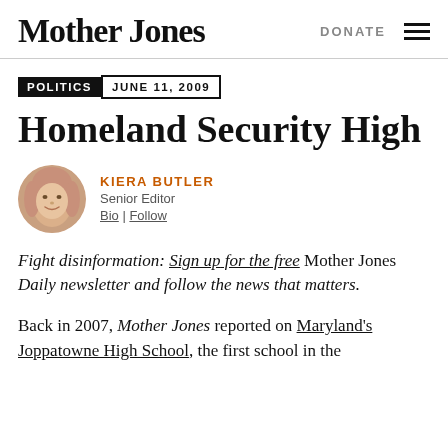Mother Jones | DONATE
POLITICS  JUNE 11, 2009
Homeland Security High
KIERA BUTLER
Senior Editor
Bio | Follow
Fight disinformation: Sign up for the free Mother Jones Daily newsletter and follow the news that matters.
Back in 2007, Mother Jones reported on Maryland's Joppatowne High School, the first school in the